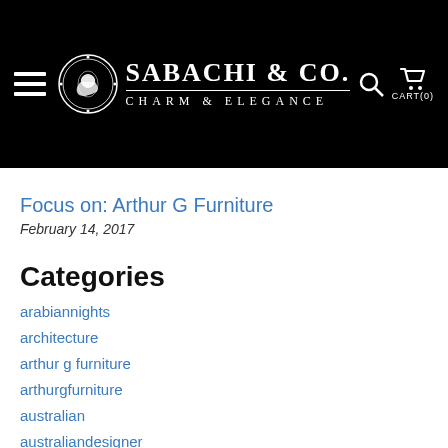SABACHI & CO. CHARM & ELEGANCE
Focus on: Arthur G Furniture
February 14, 2017
Categories
arabiannights
architecture
arthur g furniture
arthurgfurniture
australian
australiandesigner
australianmade
australianowned
autumnfragrances
autumnscents